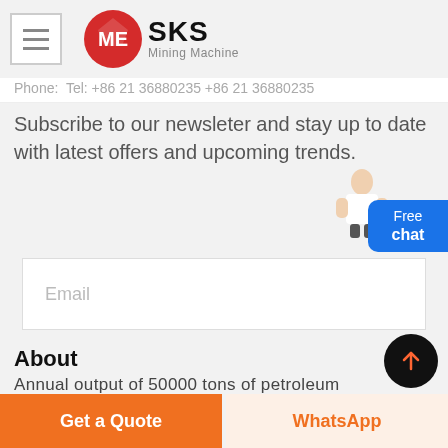SKS Mining Machine
Phone:  Tel: +86 21 36880235 +86 21 36880235
Subscribe to our newsleter and stay up to date with latest offers and upcoming trends.
Email
About
Annual output of 50000 tons of petroleum coke-prepared carbon plant in Shandong
Get a Quote
WhatsApp